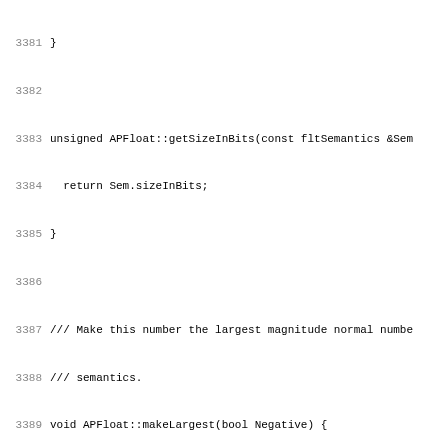Source code listing lines 3381-3412, C++ APFloat implementation
3381 }
3382 
3383 unsigned APFloat::getSizeInBits(const fltSemantics &Sem
3384   return Sem.sizeInBits;
3385 }
3386 
3387 /// Make this number the largest magnitude normal numbe
3388 /// semantics.
3389 void APFloat::makeLargest(bool Negative) {
3390   // We want (in interchange format):
3391   //   sign = {Negative}
3392   //   exponent = 1..10
3393   //   significand = 1..1
3394   category = fcNormal;
3395   sign = Negative;
3396   exponent = semantics->maxExponent;
3397 
3398   // Use memset to set all but the highest integerPart
3399   integerPart *significand = significandParts();
3400   unsigned PartCount = partCount();
3401   memset(significand, 0xFF, sizeof(integerPart)*(PartCo
3402 
3403   // Set the high integerPart especially setting all un
3404   // internal consistency.
3405   const unsigned NumUnusedHighBits =
3406     PartCount*integerPartWidth - semantics->precision;
3407   significand[PartCount - 1] = (NumUnusedHighBits < int
3408                                 ? (~integerPart(0) >
3409                                 : 0;
3410 }
3411 
3412 /// Make this number the smallest magnitude denormal nu
3413 ///